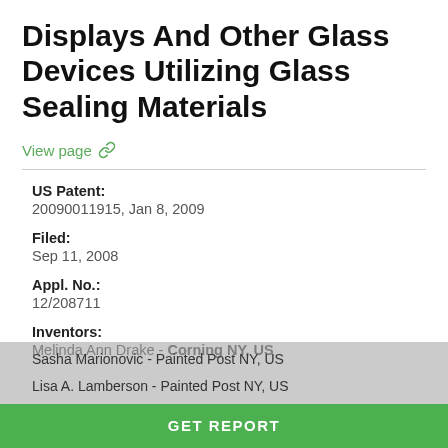Displays And Other Glass Devices Utilizing Glass Sealing Materials
View page
US Patent:
20090011915, Jan 8, 2009
Filed:
Sep 11, 2008
Appl. No.:
12/208711
Inventors:
Melinda Ann Drake - Corning NY, US
Sasha Marionovic - Painted Post NY, US
Lisa A. Lamberson - Painted Post NY, US
GET REPORT